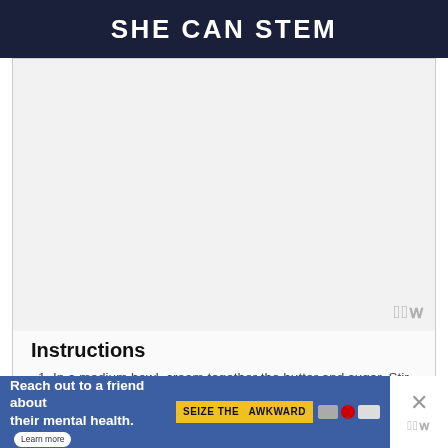SHE CAN STEM
[Figure (photo): Blank/placeholder image area with a watermark logo in the bottom right corner]
Instructions
In a medium bowl, cream together the butter and sugar. Stir in the flour, salt, vanilla and chocolate chips. Add water one tablespoon at a time (stirring between each) until the dough reaches cookie dough consistency.
[Figure (infographic): Ad banner: Reach out to a friend about their mental health. Learn more. Seize the Awkward.]